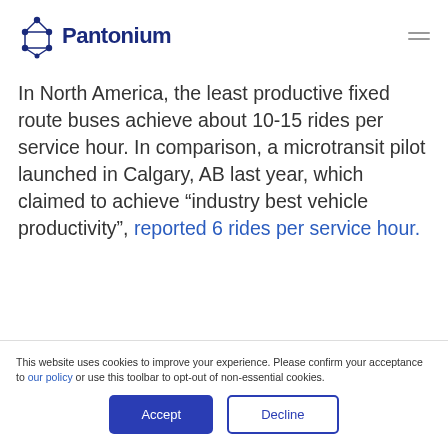Pantonium
In North America, the least productive fixed route buses achieve about 10-15 rides per service hour. In comparison, a microtransit pilot launched in Calgary, AB last year, which claimed to achieve “industry best vehicle productivity”, reported 6 rides per service hour.
This website uses cookies to improve your experience. Please confirm your acceptance to our policy or use this toolbar to opt-out of non-essential cookies.